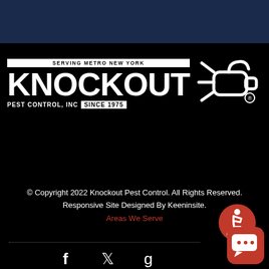[Figure (logo): Knockout Pest Control Inc logo - white text on black background with spray can icon. Text reads: SERVING METRO NEW YORK / KNOCKOUT / PEST CONTROL, INC SINCE 1975]
© Copyright 2022 Knockout Pest Control. All Rights Reserved.
Responsive Site Designed By Keeninsite.
Areas We Serve
[Figure (illustration): Orange circle accessibility icon with wheelchair user]
[Figure (illustration): Social media icons: Facebook (f), Twitter (bird), Google (g)]
[Figure (illustration): Red rounded square chat bubble icon]